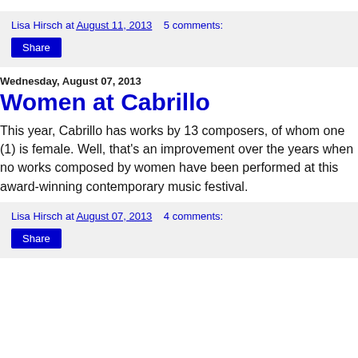Lisa Hirsch at August 11, 2013    5 comments:
Share
Wednesday, August 07, 2013
Women at Cabrillo
This year, Cabrillo has works by 13 composers, of whom one (1) is female. Well, that's an improvement over the years when no works composed by women have been performed at this award-winning contemporary music festival.
Lisa Hirsch at August 07, 2013    4 comments:
Share